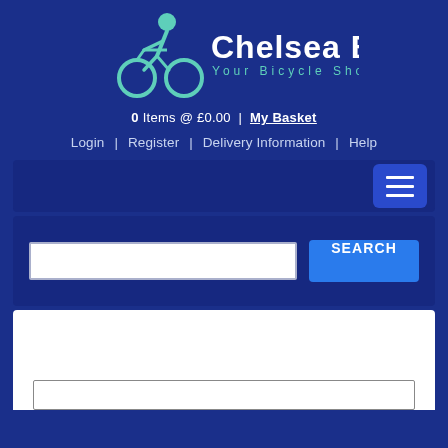[Figure (logo): Chelsea Bikes logo with cyclist icon and text 'Chelsea Bikes - Your Bicycle Shop']
0 Items @ £0.00 | My Basket
Login | Register | Delivery Information | Help
[Figure (screenshot): Navigation menu bar with hamburger menu button on right]
[Figure (screenshot): Search bar with text input field and SEARCH button]
[Figure (screenshot): White content area with a bordered inner box at the bottom]